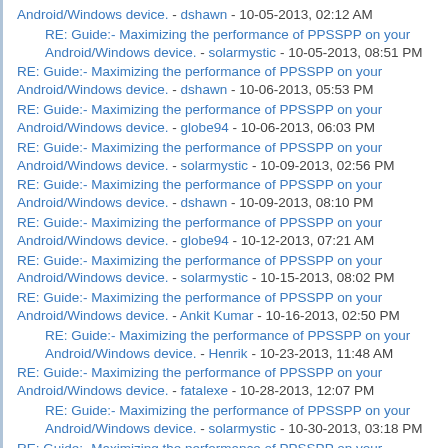RE: Guide:- Maximizing the performance of PPSSPP on your Android/Windows device. - dshawn - 10-05-2013, 02:12 AM
RE: Guide:- Maximizing the performance of PPSSPP on your Android/Windows device. - solarmystic - 10-05-2013, 08:51 PM
RE: Guide:- Maximizing the performance of PPSSPP on your Android/Windows device. - dshawn - 10-06-2013, 05:53 PM
RE: Guide:- Maximizing the performance of PPSSPP on your Android/Windows device. - globe94 - 10-06-2013, 06:03 PM
RE: Guide:- Maximizing the performance of PPSSPP on your Android/Windows device. - solarmystic - 10-09-2013, 02:56 PM
RE: Guide:- Maximizing the performance of PPSSPP on your Android/Windows device. - dshawn - 10-09-2013, 08:10 PM
RE: Guide:- Maximizing the performance of PPSSPP on your Android/Windows device. - globe94 - 10-12-2013, 07:21 AM
RE: Guide:- Maximizing the performance of PPSSPP on your Android/Windows device. - solarmystic - 10-15-2013, 08:02 PM
RE: Guide:- Maximizing the performance of PPSSPP on your Android/Windows device. - Ankit Kumar - 10-16-2013, 02:50 PM
RE: Guide:- Maximizing the performance of PPSSPP on your Android/Windows device. - Henrik - 10-23-2013, 11:48 AM
RE: Guide:- Maximizing the performance of PPSSPP on your Android/Windows device. - fatalexe - 10-28-2013, 12:07 PM
RE: Guide:- Maximizing the performance of PPSSPP on your Android/Windows device. - solarmystic - 10-30-2013, 03:18 PM
RE: Guide:- Maximizing the performance of PPSSPP on your Android/Windows device. - Butcher696 - 10-28-2013, 08:37 PM